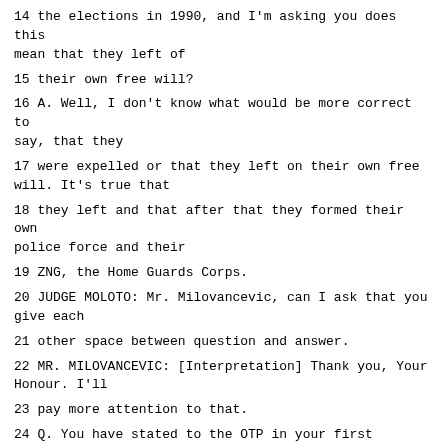14 the elections in 1990, and I'm asking you does this mean that they left of
15 their own free will?
16 A. Well, I don't know what would be more correct to say, that they
17 were expelled or that they left on their own free will. It's true that
18 they left and that after that they formed their own police force and their
19 ZNG, the Home Guards Corps.
20 JUDGE MOLOTO: Mr. Milovancevic, can I ask that you give each
21 other space between question and answer.
22 MR. MILOVANCEVIC: [Interpretation] Thank you, Your Honour. I'll
23 pay more attention to that.
24 Q. You have stated to the OTP in your first statement that after the
25 1990 elections the Home Guards Corps was established, and its commander